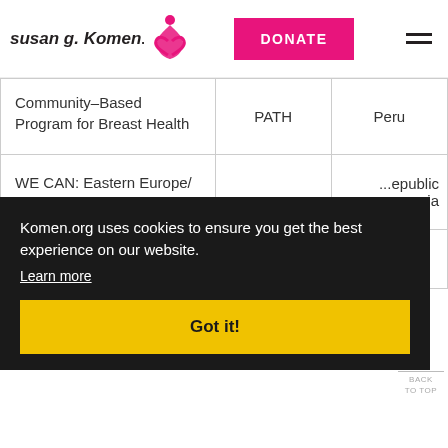[Figure (logo): Susan G. Komen logo with pink ribbon]
DONATE
| Program | Organization | Country |
| --- | --- | --- |
| Community-Based Program for Breast Health | PATH | Peru |
| WE CAN: Eastern Europe/ Central ... |  | ...Republic ...eorgia |
Komen.org uses cookies to ensure you get the best experience on our website.
Learn more
Got it!